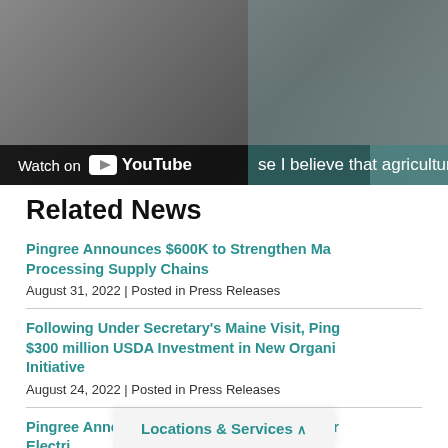[Figure (screenshot): Partial video thumbnail with 'Watch on YouTube' button overlay and teal caption bar reading 'se I believe that agriculture ha']
Related News
Pingree Announces $600K to Strengthen Ma Processing Supply Chains
August 31, 2022 | Posted in Press Releases
Following Under Secretary's Maine Visit, Ping $300 million USDA Investment in New Organi Initiative
August 24, 2022 | Posted in Press Releases
Pingree Announces $2 Million in Infrastructur Electri
August
Locations & Services